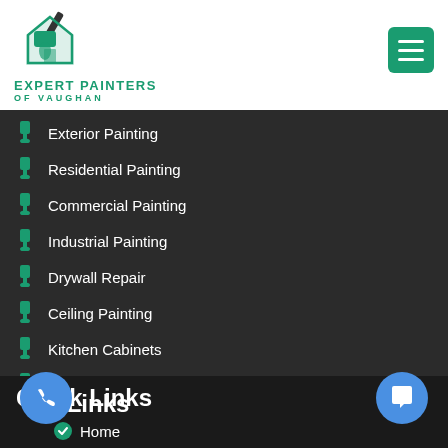[Figure (logo): Expert Painters of Vaughan logo with paintbrush icon and green text]
Exterior Painting
Residential Painting
Commercial Painting
Industrial Painting
Drywall Repair
Ceiling Painting
Kitchen Cabinets
Fence & Decks
Garage Walls, ...
Textured Ceiling...
Furniture Refinishing
[Figure (screenshot): Chat popup with avatar saying Hi there, have a question? Text us here. with a close button]
Quick Links
Home